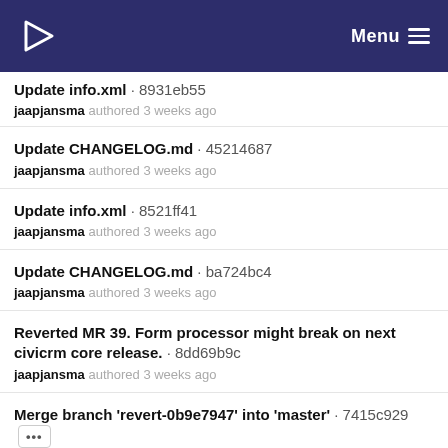Menu
Update info.xml · 8931eb55
jaapjansma authored 3 weeks ago
Update CHANGELOG.md · 45214687
jaapjansma authored 3 weeks ago
Update info.xml · 8521ff41
jaapjansma authored 3 weeks ago
Update CHANGELOG.md · ba724bc4
jaapjansma authored 3 weeks ago
Reverted MR 39. Form processor might break on next civicrm core release. · 8dd69b9c
jaapjansma authored 3 weeks ago
Merge branch 'revert-0b9e7947' into 'master' · 7415c929
jaapjansma authored 3 weeks ago
Revert "Merge branch 'fix lgl li' into 'master'" · 29d5b916